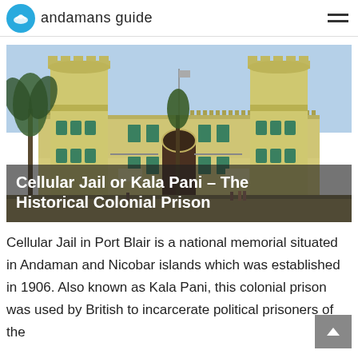andamans guide
[Figure (photo): Photograph of Cellular Jail (Kala Pani) in Port Blair — a large yellow colonial-era building with two prominent cylindrical towers topped with battlements, arched entrance gate, green shuttered windows, and palm trees in the foreground under a clear sky.]
Cellular Jail or Kala Pani – The Historical Colonial Prison
Cellular Jail in Port Blair is a national memorial situated in Andaman and Nicobar islands which was established in 1906. Also known as Kala Pani, this colonial prison was used by British to incarcerate political prisoners of the